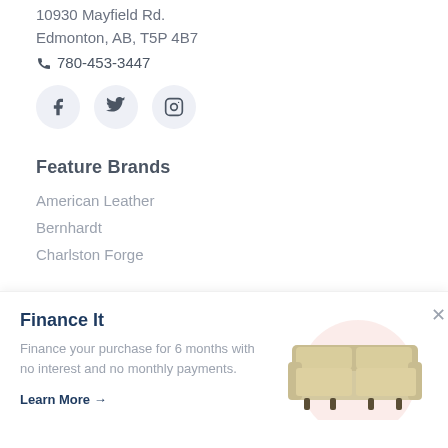10930 Mayfield Rd.
Edmonton, AB, T5P 4B7
780-453-3447
[Figure (other): Social media icons: Facebook, Twitter, Instagram — each in a light blue-gray circle]
Feature Brands
American Leather
Bernhardt
Charlston Forge
Finance It
Finance your purchase for 6 months with no interest and no monthly payments.
Learn More →
[Figure (photo): A cream/beige leather sofa with wooden legs on a soft pink circular background]